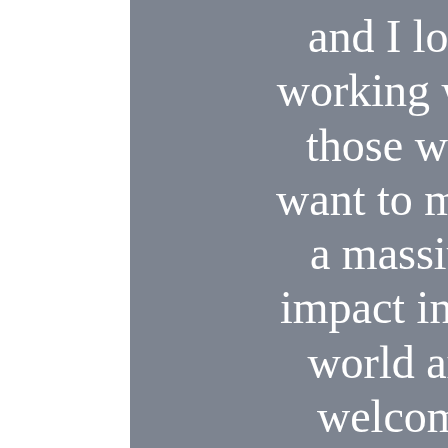and I love working with those who want to make a massive impact in the world and welcome abundance into their lives by